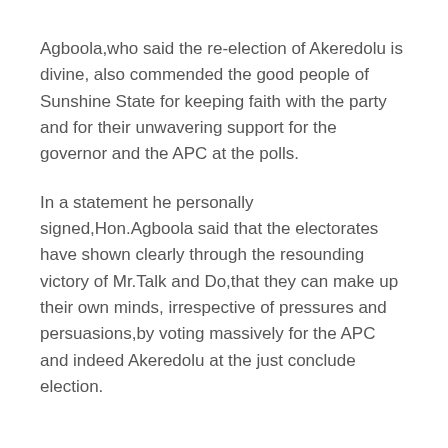Agboola,who said the re-election of Akeredolu is divine, also commended the good people of Sunshine State for keeping faith with the party and for their unwavering support for the governor and the APC at the polls.
In a statement he personally signed,Hon.Agboola said that the electorates have shown clearly through the resounding victory of Mr.Talk and Do,that they can make up their own minds, irrespective of pressures and persuasions,by voting massively for the APC and indeed Akeredolu at the just conclude election.